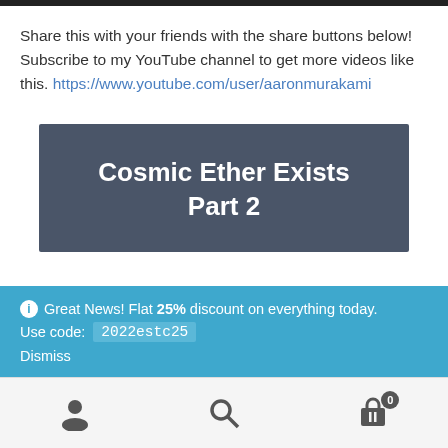Share this with your friends with the share buttons below! Subscribe to my YouTube channel to get more videos like this. https://www.youtube.com/user/aaronmurakami
Cosmic Ether Exists Part 2
ℹ Great News! Flat 25% discount on everything today. Use code: 2022estc25 Dismiss